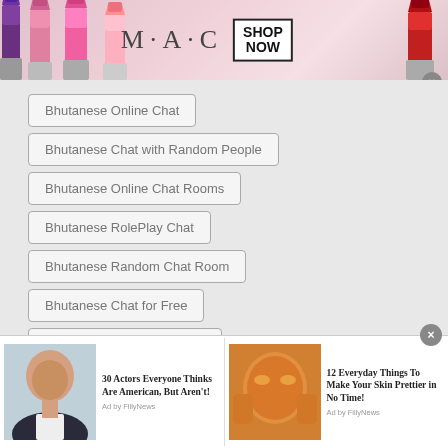[Figure (photo): MAC Cosmetics advertisement banner showing lipsticks on left side, MAC logo in center, SHOP NOW button in a box, and red lipstick on right side]
Bhutanese Online Chat
Bhutanese Chat with Random People
Bhutanese Online Chat Rooms
Bhutanese RolePlay Chat
Bhutanese Random Chat Room
Bhutanese Chat for Free
Bhutanese Online Free Call
[Figure (photo): Bottom advertisement strip with two items: '30 Actors Everyone Thinks Are American, But Aren't!' with photo of bald man, Ad by FillyNews; '12 Everyday Things To Make Your Skin Prettier in No Time!' with photo of woman with orange face mask, Ad by FillyNews]